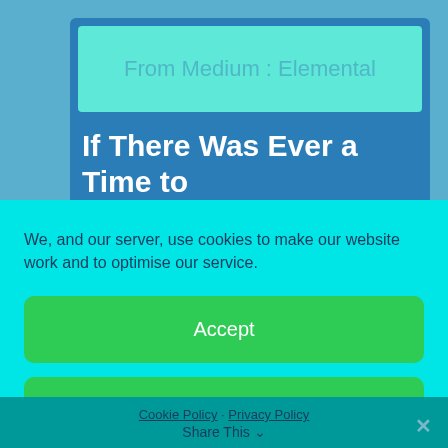From Medium : Elemental
If There Was Ever a Time to
We, and our server, use cookies to make our website work and to optimise our service.
Accept
Deny
Preferences
Cookie Policy · Privacy Policy Share This ✕